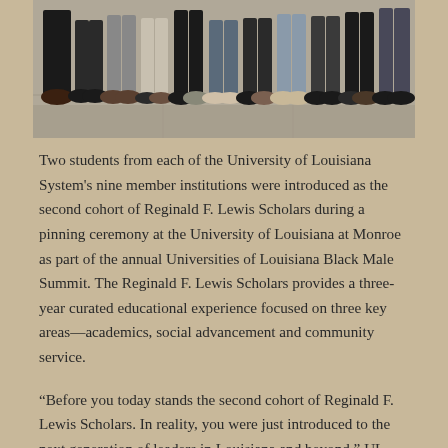[Figure (photo): A group photo showing the lower bodies and legs of multiple people standing in a row, wearing various shoes and pants, on a concrete floor.]
Two students from each of the University of Louisiana System's nine member institutions were introduced as the second cohort of Reginald F. Lewis Scholars during a pinning ceremony at the University of Louisiana at Monroe as part of the annual Universities of Louisiana Black Male Summit. The Reginald F. Lewis Scholars provides a three-year curated educational experience focused on three key areas—academics, social advancement and community service.
“Before you today stands the second cohort of Reginald F. Lewis Scholars. In reality, you were just introduced to the next generation of leaders in Louisiana and beyond,” UL System President and CEO Jim Henderson said.